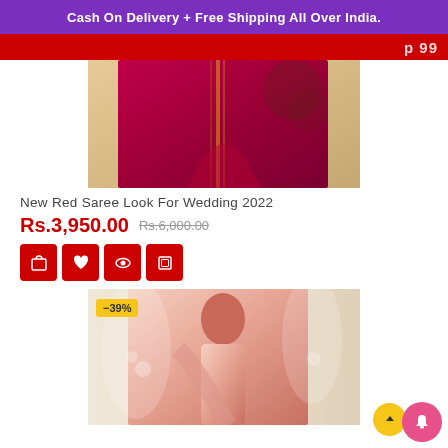Cash On Delivery + Free Shipping All Over India.
[Figure (photo): Red saree/dress product image (top portion cropped), deep red/maroon fabric with gold embroidery detail]
New Red Saree Look For Wedding 2022
Rs.3,950.00  Rs.6,000.00
[Figure (photo): Pink saree product image with -39% discount badge, model wearing pink saree with embroidered blouse]